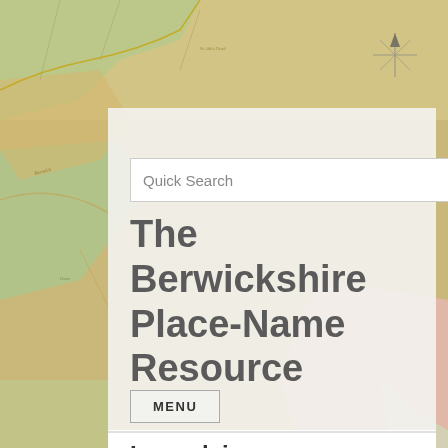[Figure (map): Background showing an old historical map with colored regions — greens, pinks, yellows — typical of a 19th-century county map of Berwickshire/Scotland area, with coastlines, place names, and a compass rose visible in the upper right.]
Quick Search
The Berwickshire Place-Name Resource
MENU
Lumsdaine
Cite this record
Download data (CSV)